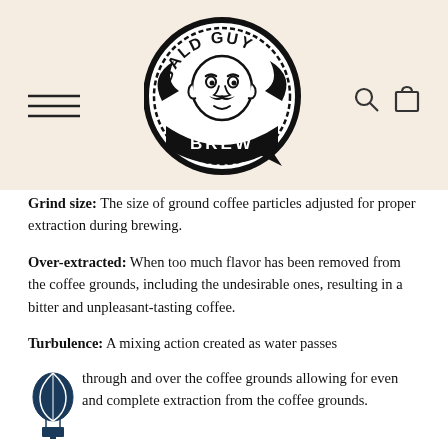[Figure (logo): Bald Guy Brew circular logo with illustration of a bald man with mustache, bold text reading BALD GUY BREW]
Grind size: The size of ground coffee particles adjusted for proper extraction during brewing.
Over-extracted: When too much flavor has been removed from the coffee grounds, including the undesirable ones, resulting in a bitter and unpleasant-tasting coffee.
Turbulence: A mixing action created as water passes through and over the coffee grounds allowing for even and complete extraction from the coffee grounds.
Under-extracted: When too little desirable flavor has been removed from the coffee grounds, resulting in a sour and